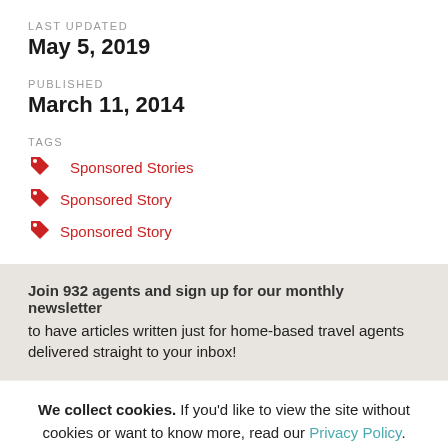LAST UPDATED
May 5, 2019
PUBLISHED
March 11, 2014
TAGS
Sponsored Stories
Sponsored Story
Sponsored Story
Join 932 agents and sign up for our monthly newsletter to have articles written just for home-based travel agents delivered straight to your inbox!
We collect cookies. If you'd like to view the site without cookies or want to know more, read our Privacy Policy.
Ok